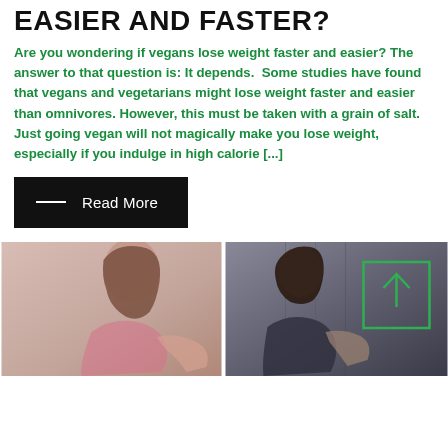EASIER AND FASTER?
Are you wondering if vegans lose weight faster and easier? The answer to that question is: It depends.  Some studies have found that vegans and vegetarians might lose weight faster and easier than omnivores. However, this must be taken with a grain of salt. Just going vegan will not magically make you lose weight, especially if you indulge in high calorie [...]
Read More
[Figure (photo): Two photos side by side: left shows a woman with long brown hair in a pink top, right shows a woman in a dark top in a gym setting. A green-bordered scroll-to-top button with an upward arrow is overlaid on the right image.]